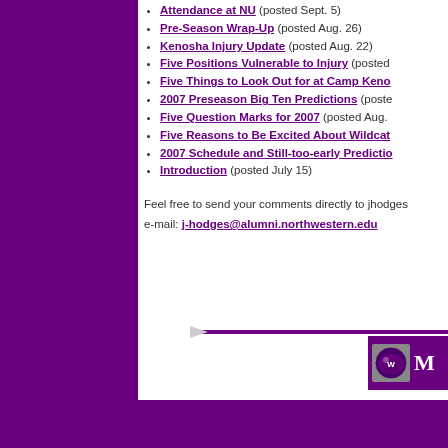Attendance at NU (posted Sept. 5)
Pre-Season Wrap-Up (posted Aug. 26)
Kenosha Injury Update (posted Aug. 22)
Five Positions Vulnerable to Injury (posted...
Five Things to Look Out for at Camp Keno...
2007 Preseason Big Ten Predictions (poste...
Five Question Marks for 2007 (posted Aug....
Five Reasons to Be Excited About Wildcat...
2007 Schedule and Still-too-early Predictio...
Introduction (posted July 15)
Feel free to send your comments directly to jhodges...
e-mail: j-hodges@alumni.northwestern.edu